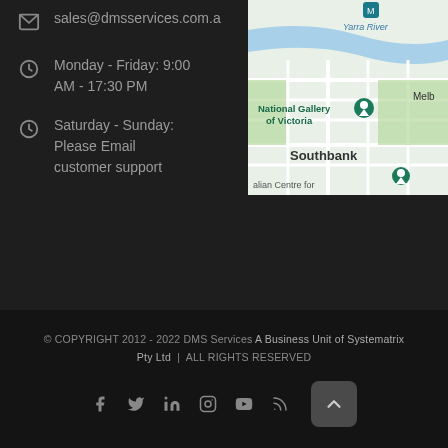sales@dmsservices.com.a
Monday - Friday: 9:00 AM - 17:30 PM
Saturday - Sunday: Please Email customer support
[Figure (map): Google Maps screenshot showing Southbank, National Gallery of Victoria, and Yarra River area in Melbourne]
© COPYRIGHT 2012 - 2022 DMS Services A Business Unit of Systematrix Pty Ltd | ALL RIGHTS RESERVED